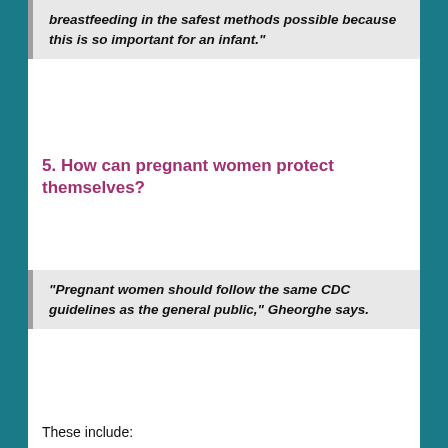“breastfeeding in the safest methods possible because this is so important for an infant.”
5. How can pregnant women protect themselves?
“Pregnant women should follow the same CDC guidelines as the general public,” Gheorghe says.
These include: